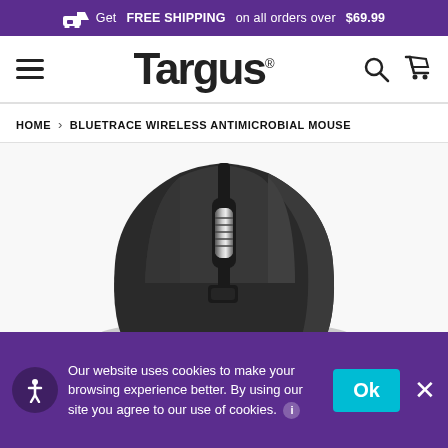Get FREE SHIPPING on all orders over $69.99
[Figure (logo): Targus logo and navigation bar with hamburger menu, search icon, and cart icon]
HOME > BLUETRACE WIRELESS ANTIMICROBIAL MOUSE
[Figure (photo): Close-up photo of a black Targus BlueTrace Wireless Antimicrobial Mouse showing the scroll wheel and side buttons]
Our website uses cookies to make your browsing experience better. By using our site you agree to our use of cookies.